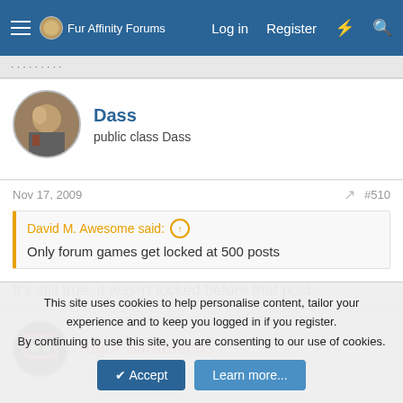Fur Affinity Forums   Log in   Register
Dass
public class Dass
Nov 17, 2009   #510
David M. Awesome said:
Only forum games get locked at 500 posts
It's still true, it wasn't locked before that post.
Rigor Sardonicus
This site uses cookies to help personalise content, tailor your experience and to keep you logged in if you register.
By continuing to use this site, you are consenting to our use of cookies.